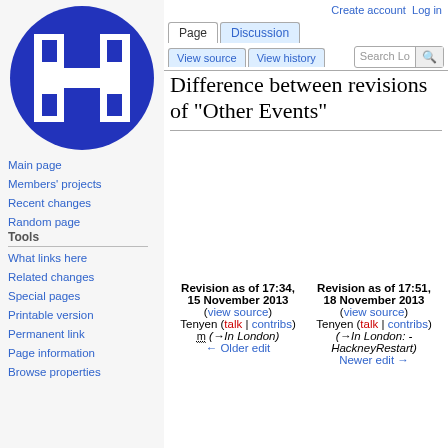[Figure (logo): Hackspace wiki logo: white H-shaped symbol on dark blue circle background]
Main page
Members' projects
Recent changes
Random page
Tools
What links here
Related changes
Special pages
Printable version
Permanent link
Page information
Browse properties
Create account   Log in
Difference between revisions of "Other Events"
| Revision as of 17:34, 15 November 2013 (view source) | Revision as of 17:51, 18 November 2013 (view source) |
| --- | --- |
| Tenyen (talk | contribs) | Tenyen (talk | contribs) |
| m (→In London) | (→In London: - HackneyRestart) |
| ← Older edit | Newer edit → |